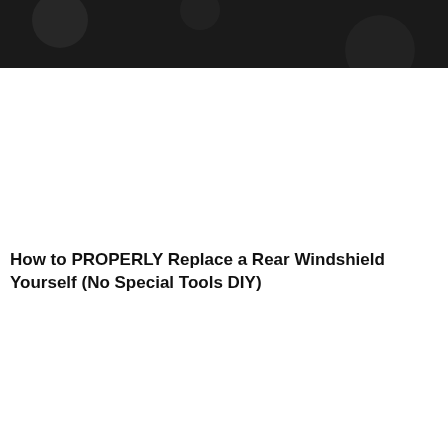[Figure (screenshot): Dark banner image with bold white text reading 'Broken Windshield' on a dark/black background with engine-like imagery]
How to PROPERLY Replace a Rear Windshield Yourself (No Special Tools DIY)
[Figure (screenshot): Dark banner image with bold white text reading 'Head Gasket' on a dark background with engine/mechanical imagery]